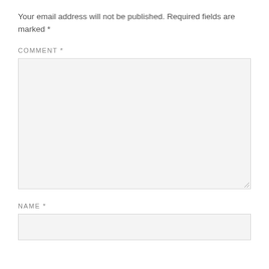Your email address will not be published. Required fields are marked *
COMMENT *
NAME *